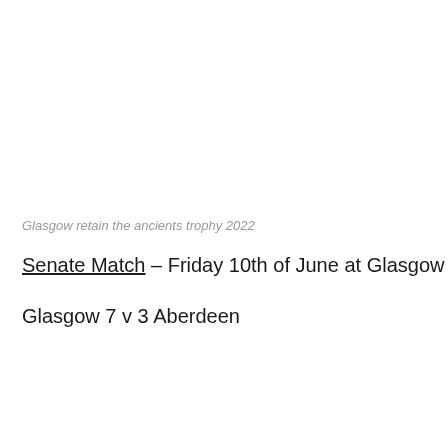Glasgow retain the ancients trophy 2022
Senate Match – Friday 10th of June at Glasgow Gailes.
Glasgow 7 v 3 Aberdeen